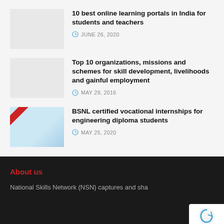10 best online learning portals in India for students and teachers — JUNE 26, 2020
Top 10 organizations, missions and schemes for skill development, livelihoods and gainful employment — MAY 29, 2016
BSNL certified vocational internships for engineering diploma students — MAY 25, 2020
About us
National Skills Network (NSN) captures and sha